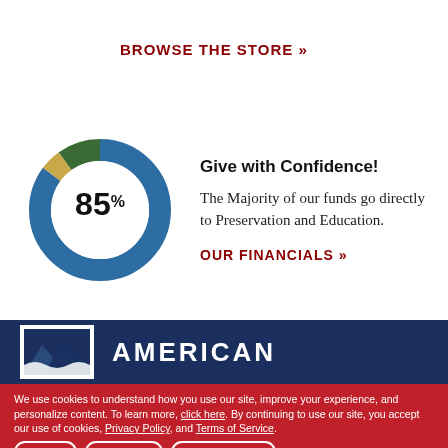BROWSE THE STORE »
Give with Confidence!
[Figure (donut-chart): 85%]
The Majority of our funds go directly to Preservation and Education.
OUR FINANCIALS »
[Figure (logo): American organization logo with mountain/water imagery in navy blue and white]
AMERICAN
We use cookies to understand how you use our site, improve your experience, and personalize content. To learn more, click here. By continuing to use our site, you accept our use of cookies, Privacy Policy, and Terms of Service.
I agree   More info   Reject cookies